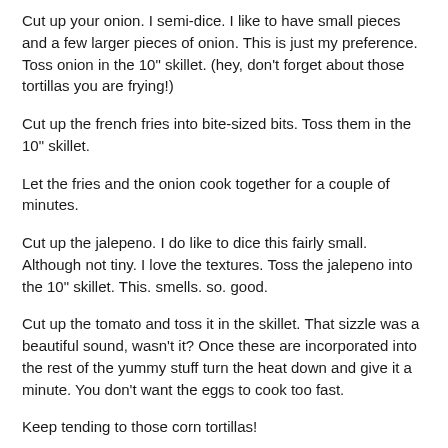Cut up your onion. I semi-dice. I like to have small pieces and a few larger pieces of onion. This is just my preference. Toss onion in the 10" skillet. (hey, don't forget about those tortillas you are frying!)
Cut up the french fries into bite-sized bits. Toss them in the 10" skillet.
Let the fries and the onion cook together for a couple of minutes.
Cut up the jalepeno. I do like to dice this fairly small. Although not tiny. I love the textures. Toss the jalepeno into the 10" skillet. This. smells. so. good.
Cut up the tomato and toss it in the skillet. That sizzle was a beautiful sound, wasn't it? Once these are incorporated into the rest of the yummy stuff turn the heat down and give it a minute. You don't want the eggs to cook too fast.
Keep tending to those corn tortillas!